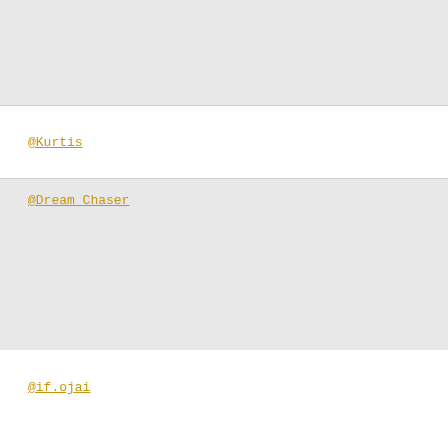@Kurtis
@Dream_Chaser
@if.ojai
@Captain_Benjamin
@Deakin_pope